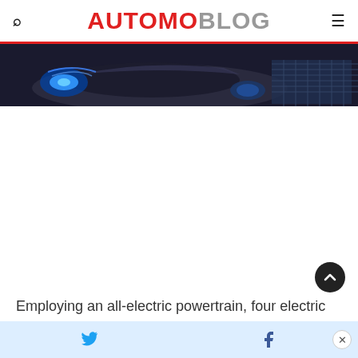AUTOMOBLOG
[Figure (photo): Close-up photo of electric car headlight/front detail with blue lighting accents on dark background]
Employing an all-electric powertrain, four electric
Twitter share | Facebook share | Close